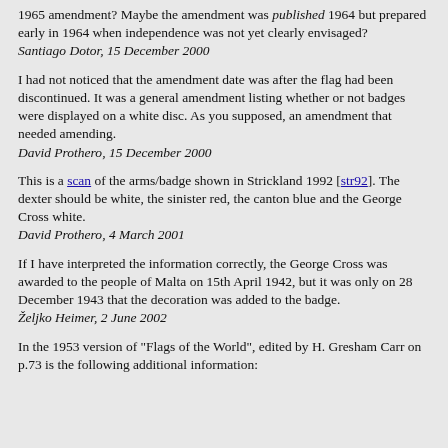1965 amendment? Maybe the amendment was published 1964 but prepared early in 1964 when independence was not yet clearly envisaged?
Santiago Dotor, 15 December 2000
I had not noticed that the amendment date was after the flag had been discontinued. It was a general amendment listing whether or not badges were displayed on a white disc. As you supposed, an amendment that needed amending.
David Prothero, 15 December 2000
This is a scan of the arms/badge shown in Strickland 1992 [str92]. The dexter should be white, the sinister red, the canton blue and the George Cross white.
David Prothero, 4 March 2001
If I have interpreted the information correctly, the George Cross was awarded to the people of Malta on 15th April 1942, but it was only on 28 December 1943 that the decoration was added to the badge.
Željko Heimer, 2 June 2002
In the 1953 version of "Flags of the World", edited by H. Gresham Carr on p.73 is the following additional information: